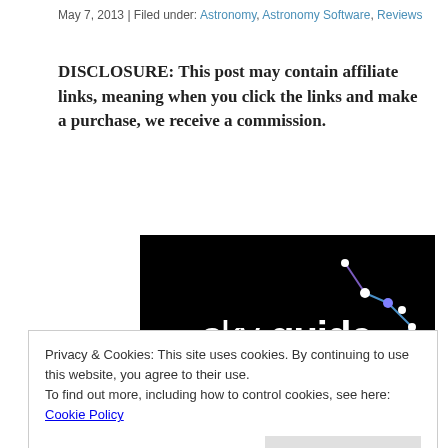May 7, 2013 | Filed under: Astronomy, Astronomy Software, Reviews
DISCLOSURE: This post may contain affiliate links, meaning when you click the links and make a purchase, we receive a commission.
[Figure (logo): Sky Guide app logo on black background with constellation lines and dots forming a small star pattern; text reads 'skyguide' in white and light blue]
Privacy & Cookies: This site uses cookies. By continuing to use this website, you agree to their use.
To find out more, including how to control cookies, see here: Cookie Policy
and iPad. Now, there's a new app called Sky Guide.